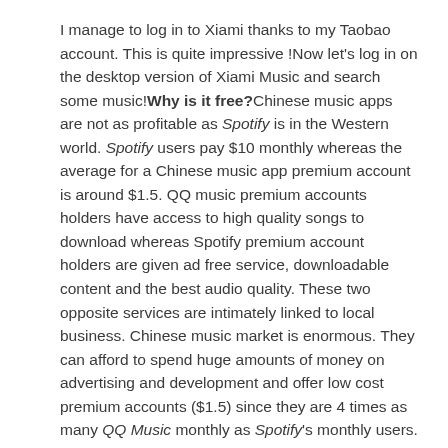I manage to log in to Xiami thanks to my Taobao account. This is quite impressive !Now let's log in on the desktop version of Xiami Music and search some music!Why is it free?Chinese music apps are not as profitable as Spotify is in the Western world. Spotify users pay $10 monthly whereas the average for a Chinese music app premium account is around $1.5. QQ music premium accounts holders have access to high quality songs to download whereas Spotify premium account holders are given ad free service, downloadable content and the best audio quality. These two opposite services are intimately linked to local business. Chinese music market is enormous. They can afford to spend huge amounts of money on advertising and development and offer low cost premium accounts ($1.5) since they are 4 times as many QQ Music monthly as Spotify's monthly users.

However QQ Music only has 10m people subscribers